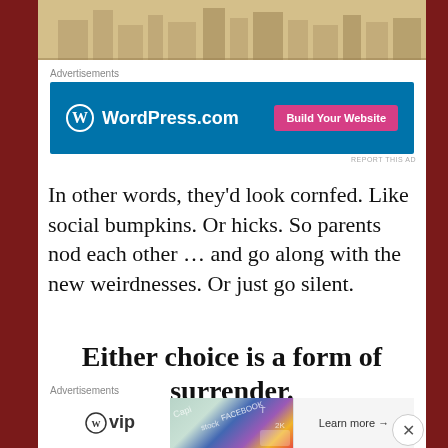[Figure (illustration): Sepia-toned illustration of buildings/cityscape at top of page]
Advertisements
[Figure (screenshot): WordPress.com advertisement banner with blue background and 'Build Your Website' pink button]
REPORT THIS AD
In other words, they'd look cornfed. Like social bumpkins. Or hicks. So parents nod each other … and go along with the new weirdnesses. Or just go silent.
Either choice is a form of surrender.
Advertisements
[Figure (screenshot): WordPress VIP advertisement banner with social media imagery and 'Learn more' button]